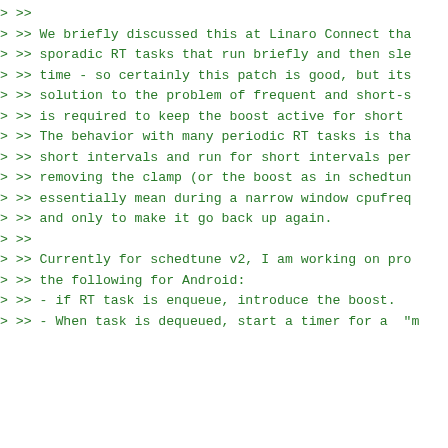> >>
> >> We briefly discussed this at Linaro Connect tha
> >> sporadic RT tasks that run briefly and then slee
> >> time - so certainly this patch is good, but its
> >> solution to the problem of frequent and short-sl
> >> is required to keep the boost active for short m
> >> The behavior with many periodic RT tasks is that
> >> short intervals and run for short intervals per:
> >> removing the clamp (or the boost as in schedtune
> >> essentially mean during a narrow window cpufreq
> >> and only to make it go back up again.
> >>
> >> Currently for schedtune v2, I am working on pro
> >> the following for Android:
> >> - if RT task is enqueue, introduce the boost.
> >> - When task is dequeued, start a timer for a "m